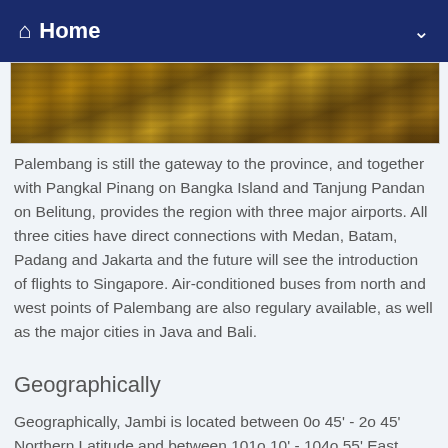Home
[Figure (photo): Partial aerial/landscape photo showing reddish-brown terrain, likely a mining or rural landscape in Sumatra.]
Palembang is still the gateway to the province, and together with Pangkal Pinang on Bangka Island and Tanjung Pandan on Belitung, provides the region with three major airports. All three cities have direct connections with Medan, Batam, Padang and Jakarta and the future will see the introduction of flights to Singapore. Air-conditioned buses from north and west points of Palembang are also regulary available, as well as the major cities in Java and Bali.
Geographically
Geographically, Jambi is located between 0o 45' - 2o 45' Northern Latitude and between 101o 10' - 104o 55' East Longitude. This province is bordered by
North side: Riau province
South side: Bengkulu province
West Side: West Sumatra